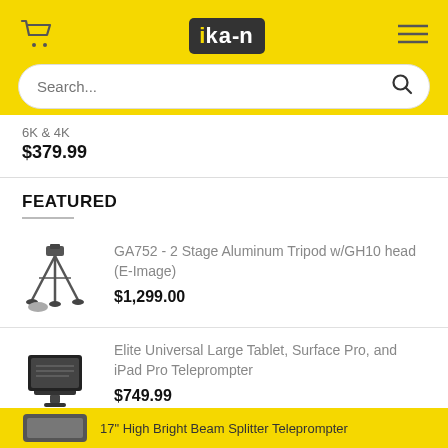[Figure (logo): ikan brand logo in black box with yellow 'i' on yellow header background]
6K & 4K
$379.99
FEATURED
GA752 - 2 Stage Aluminum Tripod w/GH10 head (E-Image)
$1,299.00
Elite Universal Large Tablet, Surface Pro, and iPad Pro Teleprompter
$749.99
17" High Bright Beam Splitter Teleprompter